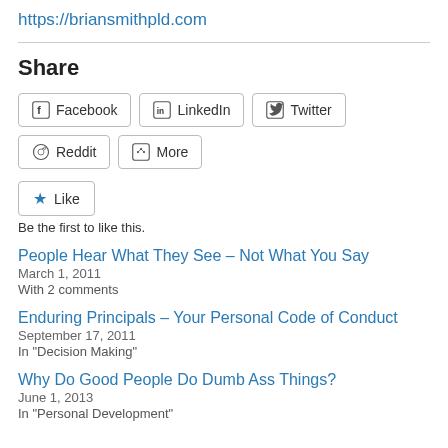https://briansmithpld.com
Share
[Figure (other): Share buttons: Facebook, LinkedIn, Twitter, Reddit, More]
[Figure (other): Like button with star icon]
Be the first to like this.
People Hear What They See – Not What You Say
March 1, 2011
With 2 comments
Enduring Principals – Your Personal Code of Conduct
September 17, 2011
In "Decision Making"
Why Do Good People Do Dumb Ass Things?
June 1, 2013
In "Personal Development"